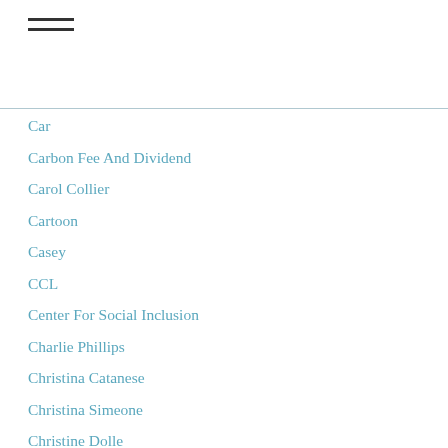≡ (hamburger menu icon)
Car
Carbon Fee And Dividend
Carol Collier
Cartoon
Casey
CCL
Center For Social Inclusion
Charlie Phillips
Christina Catanese
Christina Simeone
Christine Dolle
Christine Knapp
Christmas Music
Citizens' Climate Lobby
Civilization
Clean Energy Revolution
Clean Power
Clean Power Plan